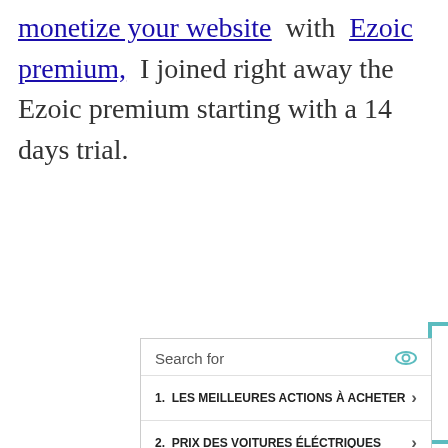monetize your website with Ezoic premium, I joined right away the Ezoic premium starting with a 14 days trial.
[Figure (screenshot): Ad unit showing 'Search for' with two list items: 1. LES MEILLEURES ACTIONS À ACHETER and 2. PRIX DES VOITURES ÉLÉCTRIQUES, with a Glocal Search label and Ad badge]